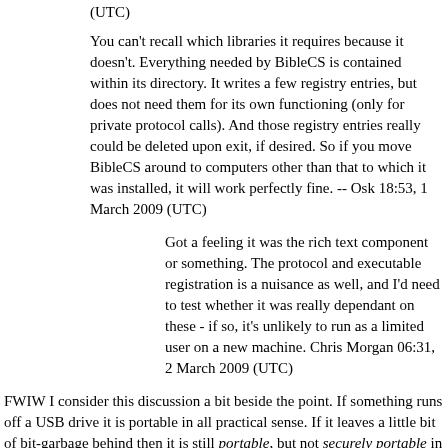(UTC)
You can't recall which libraries it requires because it doesn't. Everything needed by BibleCS is contained within its directory. It writes a few registry entries, but does not need them for its own functioning (only for private protocol calls). And those registry entries really could be deleted upon exit, if desired. So if you move BibleCS around to computers other than that to which it was installed, it will work perfectly fine. -- Osk 18:53, 1 March 2009 (UTC)
Got a feeling it was the rich text component or something. The protocol and executable registration is a nuisance as well, and I'd need to test whether it was really dependant on these - if so, it's unlikely to run as a limited user on a new machine. Chris Morgan 06:31, 2 March 2009 (UTC)
FWIW I consider this discussion a bit beside the point. If something runs off a USB drive it is portable in all practical sense. If it leaves a little bit of bit-garbage behind then it is still portable, but not securely portable in the sense that no one will ever know you used it there - but that is a second matter. If the reason that you do not want to leave anything behind is indeed your physical or job security then even portable apps has a massive problem - and that is teh fact that USB